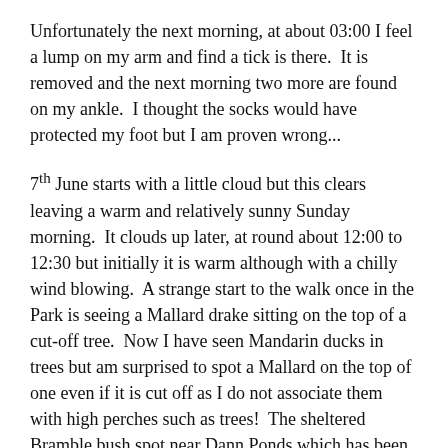Unfortunately the next morning, at about 03:00 I feel a lump on my arm and find a tick is there.  It is removed and the next morning two more are found on my ankle.  I thought the socks would have protected my foot but I am proven wrong...
7th June starts with a little cloud but this clears leaving a warm and relatively sunny Sunday morning.  It clouds up later, at round about 12:00 to 12:30 but initially it is warm although with a chilly wind blowing.  A strange start to the walk once in the Park is seeing a Mallard drake sitting on the top of a cut-off tree.  Now I have seen Mandarin ducks in trees but am surprised to spot a Mallard on the top of one even if it is cut off as I do not associate them with high perches such as trees!  The sheltered Bramble bush spot near Dann Ponds which has been productive for the last few days is also productive this morning although mainly with the